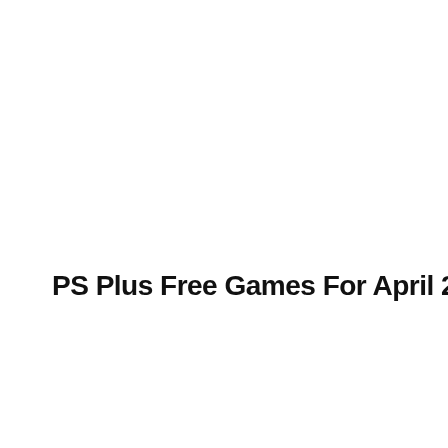PS Plus Free Games For April 2017